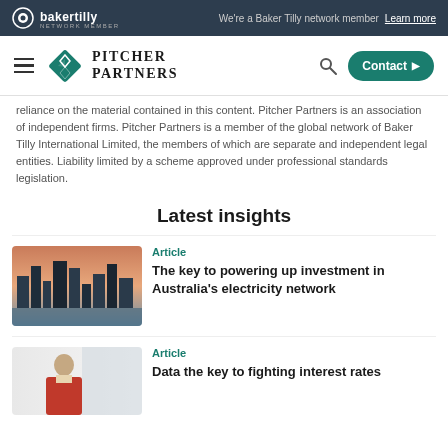We're a Baker Tilly network member  Learn more
[Figure (logo): Pitcher Partners logo with diamond shape and text]
reliance on the material contained in this content. Pitcher Partners is an association of independent firms. Pitcher Partners is a member of the global network of Baker Tilly International Limited, the members of which are separate and independent legal entities. Liability limited by a scheme approved under professional standards legislation.
Latest insights
Article
The key to powering up investment in Australia's electricity network
Article
Data the key to fighting interest rates